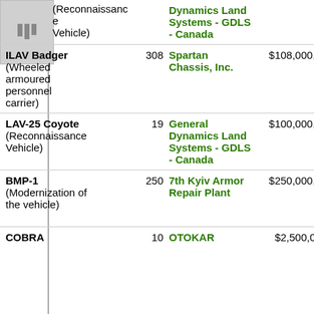| Item | Qty | Contractor | Value | Date |
| --- | --- | --- | --- | --- |
| (Reconnaissance Vehicle) |  | Dynamics Land Systems - GDLS - Canada |  | 2007 (Nov 2008) |
| ILAV Badger (Wheeled armoured personnel carrier) | 308 | Spartan Chassis, Inc. | $108,000,000 | Jun 2006 (Jun 2007) |
| LAV-25 Coyote (Reconnaissance Vehicle) | 19 | General Dynamics Land Systems - GDLS - Canada | $100,000,000 | Feb 2006 (Nov 2006) |
| BMP-1 (Modernization of the vehicle) | 250 | 7th Kyiv Armor Repair Plant | $250,000,000 | Feb 2006 (Nov 2008) |
| COBRA | 10 | OTOKAR | $2,500,000 | Jul |